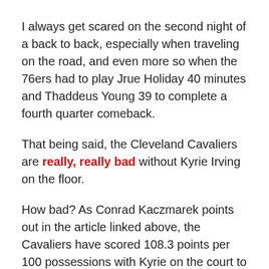I always get scared on the second night of a back to back, especially when traveling on the road, and even more so when the 76ers had to play Jrue Holiday 40 minutes and Thaddeus Young 39 to complete a fourth quarter comeback.
That being said, the Cleveland Cavaliers are really, really bad without Kyrie Irving on the floor.
How bad? As Conrad Kaczmarek points out in the article linked above, the Cavaliers have scored 108.3 points per 100 possessions with Kyrie on the court to only 81.6 points per 100 possessions with him off the court.
To put that in perspective, because perspective is always important, even if the numbers don't...